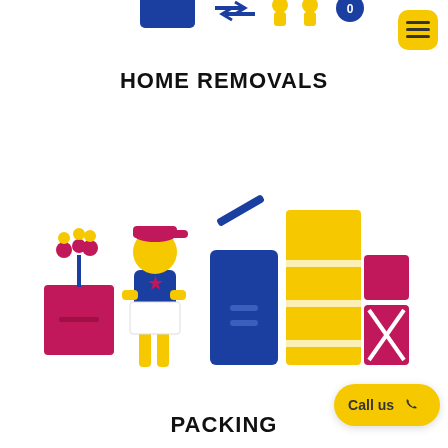[Figure (illustration): Partial view of website navigation header with logo icons (blue box, arrows, yellow figures, blue circle)]
[Figure (illustration): Yellow hamburger menu button (three horizontal lines) on yellow rounded square background]
HOME REMOVALS
[Figure (illustration): Illustration of a yellow stick-figure person wearing a blue outfit and red cap, holding a white box, standing next to moving boxes and containers: a magenta box with plant, a blue bin with open lid, a tall yellow and white striped box, and a magenta box with X mark.]
PACKING
Call us